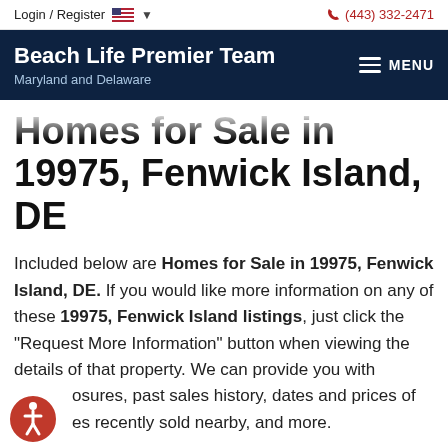Login / Register | (443) 332-2471
Beach Life Premier Team — Maryland and Delaware | MENU
Homes for Sale in 19975, Fenwick Island, DE
Included below are Homes for Sale in 19975, Fenwick Island, DE. If you would like more information on any of these 19975, Fenwick Island listings, just click the "Request More Information" button when viewing the details of that property. We can provide you with disclosures, past sales history, dates and prices of homes recently sold nearby, and more.